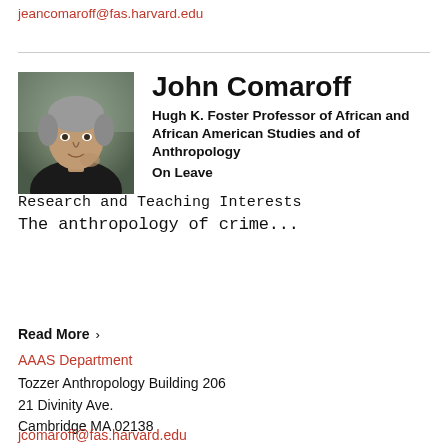jeancomaroff@fas.harvard.edu
[Figure (photo): Headshot photo of John Comaroff, an older man with grey hair]
John Comaroff
Hugh K. Foster Professor of African and African American Studies and of Anthropology
On Leave
Research and Teaching Interests
The anthropology of crime...
Read More >
AAAS Department
Tozzer Anthropology Building 206
21 Divinity Ave.
Cambridge MA 02138
jcomaroff@fas.harvard.edu